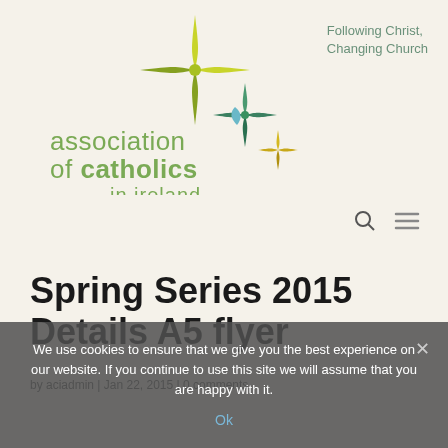[Figure (logo): Association of Catholics in Ireland logo — star/sparkle graphic in yellow-green and teal colors, with text 'association of catholics in ireland' and tagline 'Following Christ, Changing Church']
Spring Series 2015 Details A5 flyer
by aciadmin | Jan 22, 2015 | 0 comments
We use cookies to ensure that we give you the best experience on our website. If you continue to use this site we will assume that you are happy with it.
Ok
Spring Series 2015 Details A5 flyer